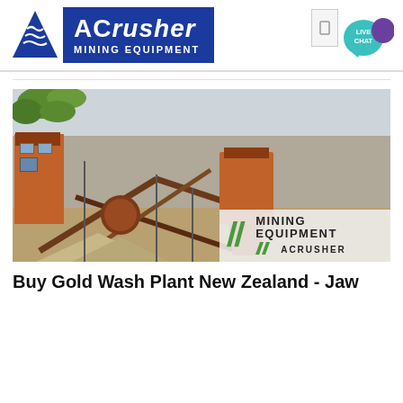[Figure (logo): ACrusher Mining Equipment logo — blue triangle icon on left, blue rectangle with 'ACrusher' in large white bold text and 'MINING EQUIPMENT' in white below]
[Figure (photo): Outdoor industrial mining/crushing plant site with large orange/rust-colored machinery, conveyor belts crossing in an X pattern, piles of aggregate on the ground, and green foliage visible at the top. An ACrusher Mining Equipment watermark is in the lower right corner.]
Buy Gold Wash Plant New Zealand - Jaw